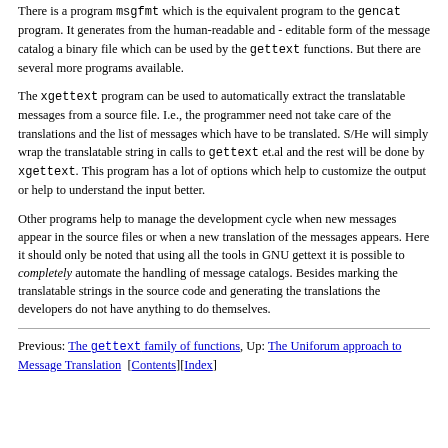There is a program msgfmt which is the equivalent program to the gencat program. It generates from the human-readable and editable form of the message catalog a binary file which can be used by the gettext functions. But there are several more programs available.
The xgettext program can be used to automatically extract the translatable messages from a source file. I.e., the programmer need not take care of the translations and the list of messages which have to be translated. S/He will simply wrap the translatable string in calls to gettext et.al and the rest will be done by xgettext. This program has a lot of options which help to customize the output or help to understand the input better.
Other programs help to manage the development cycle when new messages appear in the source files or when a new translation of the messages appears. Here it should only be noted that using all the tools in GNU gettext it is possible to completely automate the handling of message catalogs. Besides marking the translatable strings in the source code and generating the translations the developers do not have anything to do themselves.
Previous: The gettext family of functions, Up: The Uniforum approach to Message Translation [Contents][Index]